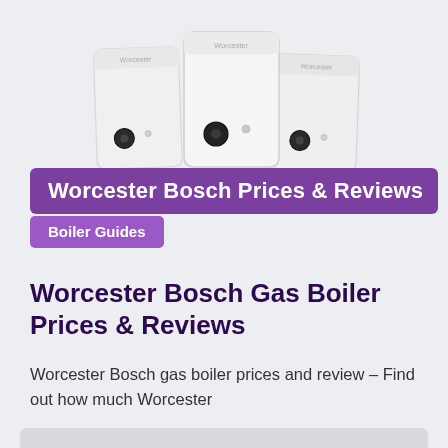[Figure (illustration): Three white Worcester Bosch wall-mounted gas boilers shown side by side on a light grey background]
Worcester Bosch Prices & Reviews
Boiler Guides
Worcester Bosch Gas Boiler Prices & Reviews
Worcester Bosch gas boiler prices and review – Find out how much Worcester